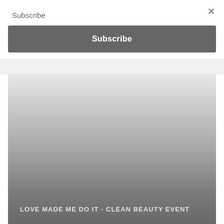Subscribe
×
Subscribe
[Figure (screenshot): A modal overlay showing a Subscribe button at the top, with a partially visible second Subscribe button below a divider line, and beneath that a large image with a gray gradient background. At the bottom of the image, text reads: LOVE MADE ME DO IT - CLEAN BEAUTY EVENT]
LOVE MADE ME DO IT - CLEAN BEAUTY EVENT